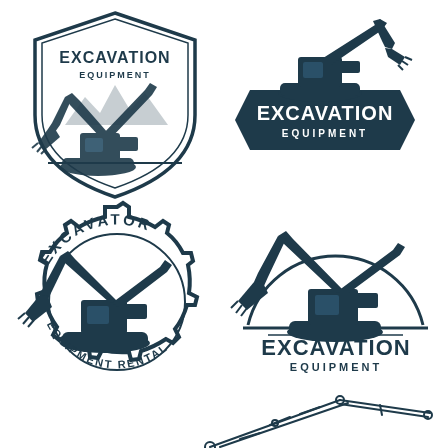[Figure (logo): Excavation Equipment logo with shield shape, mountain background, and excavator illustration. Text reads EXCAVATION EQUIPMENT.]
[Figure (logo): Excavation Equipment logo with hexagonal dark badge shape and excavator illustration. Text reads EXCAVATION EQUIPMENT.]
[Figure (logo): Excavator Equipment Rental circular gear logo with excavator illustration. Text reads EXCAVATOR EQUIPMENT RENTAL in circular arrangement.]
[Figure (logo): Excavation Equipment logo with semicircular arc and excavator illustration. Text reads EXCAVATION EQUIPMENT.]
[Figure (illustration): Line art illustration of excavator arm/boom detail, partial view showing mechanical linkage.]